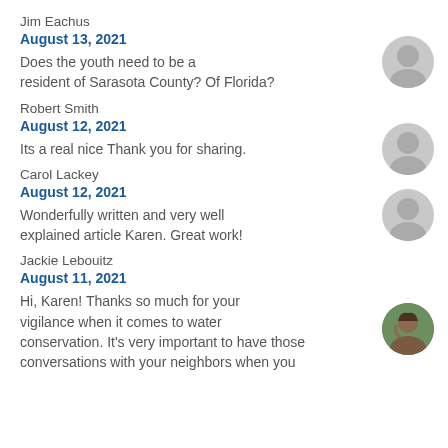Jim Eachus
August 13, 2021
Does the youth need to be a resident of Sarasota County? Of Florida?
Robert Smith
August 12, 2021
Its a real nice Thank you for sharing.
Carol Lackey
August 12, 2021
Wonderfully written and very well explained article Karen. Great work!
Jackie Lebouitz
August 11, 2021
Hi, Karen! Thanks so much for your vigilance when it comes to water conservation. It's very important to have those conversations with your neighbors when you